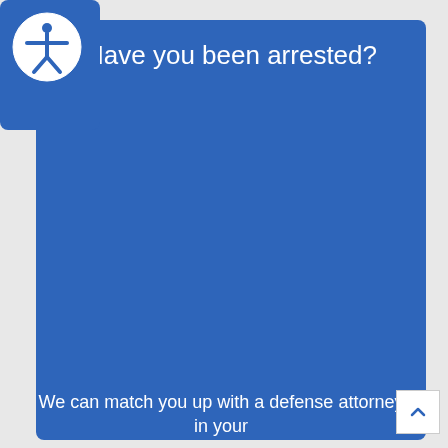[Figure (logo): Accessibility icon — a circular badge with a blue background showing a person with arms outstretched (accessibility symbol) in white]
Have you been arrested?
We can match you up with a defense attorney in your